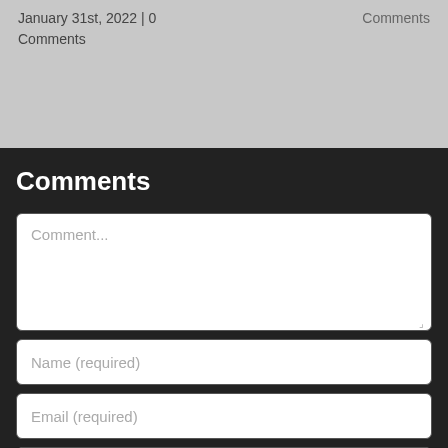January 31st, 2022 | 0 Comments
Comments
Comments
Comment...
Name (required)
Email (required)